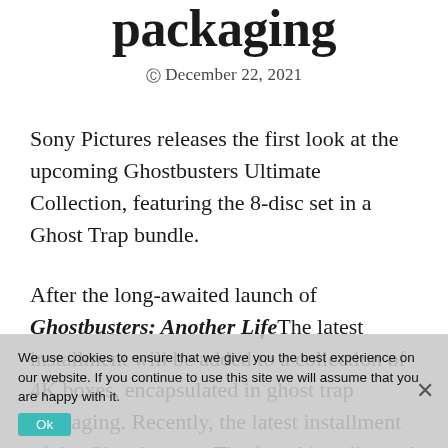packaging
© December 22, 2021
Sony Pictures releases the first look at the upcoming Ghostbusters Ultimate Collection, featuring the 8-disc set in a Ghost Trap bundle.
After the long-awaited launch of Ghostbusters: Another Life The latest installment will be added to a collection of 4K boxes, encapsulated in ghost trap packaging. Recently, the latest installment of the Ghostbusters. The franchise, directed by Jason Reitman, surpassed $ 100 million at the domestic box office. With the
We use cookies to ensure that we give you the best experience on our website. If you continue to use this site we will assume that you are happy with it.